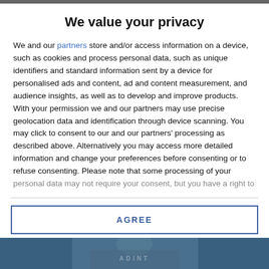We value your privacy
We and our partners store and/or access information on a device, such as cookies and process personal data, such as unique identifiers and standard information sent by a device for personalised ads and content, ad and content measurement, and audience insights, as well as to develop and improve products. With your permission we and our partners may use precise geolocation data and identification through device scanning. You may click to consent to our and our partners' processing as described above. Alternatively you may access more detailed information and change your preferences before consenting or to refuse consenting. Please note that some processing of your personal data may not require your consent, but you have a right to
AGREE
MORE OPTIONS
[Figure (photo): Photo strip at the bottom of the page showing a person, partially visible]